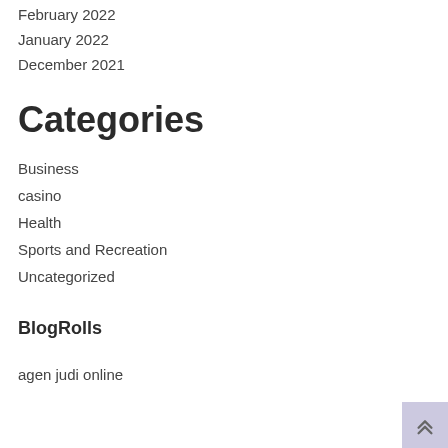February 2022
January 2022
December 2021
Categories
Business
casino
Health
Sports and Recreation
Uncategorized
BlogRolls
agen judi online